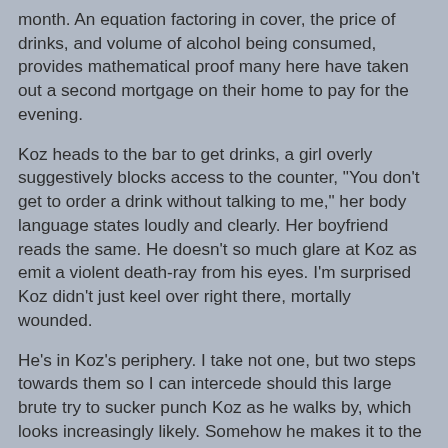month. An equation factoring in cover, the price of drinks, and volume of alcohol being consumed, provides mathematical proof many here have taken out a second mortgage on their home to pay for the evening.
Koz heads to the bar to get drinks, a girl overly suggestively blocks access to the counter, "You don't get to order a drink without talking to me," her body language states loudly and clearly. Her boyfriend reads the same. He doesn't so much glare at Koz as emit a violent death-ray from his eyes. I'm surprised Koz didn't just keel over right there, mortally wounded.
He's in Koz's periphery. I take not one, but two steps towards them so I can intercede should this large brute try to sucker punch Koz as he walks by, which looks increasingly likely. Somehow he makes it to the bar unscathed, I keep my eyes trained on Brutus, his death glare slowly dissipating as his girlfriend turns her attention back to him. Finally convinced that all is safe, I put my body between the doomed couple and my friend.
"Dude, I thought her boyfriend was going to attack you for a few seconds there."